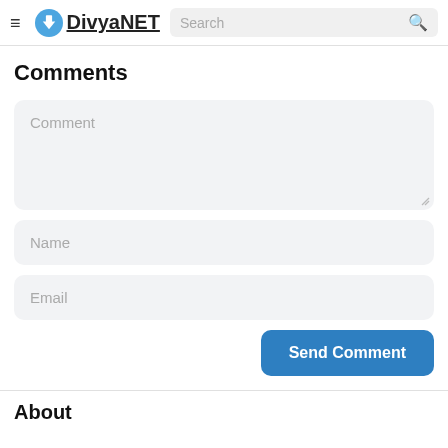DivyaNET — navigation header with logo and search bar
Comments
Comment (textarea placeholder)
Name (input placeholder)
Email (input placeholder)
Send Comment
About